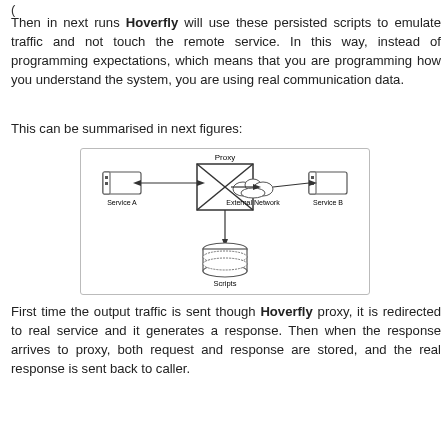Then in next runs Hoverfly will use these persisted scripts to emulate traffic and not touch the remote service. In this way, instead of programming expectations, which means that you are programming how you understand the system, you are using real communication data.
This can be summarised in next figures:
[Figure (engineering-diagram): Network diagram showing Service A connected bidirectionally to a Proxy (represented by a box with an X), which connects via External Network to Service B. The Proxy also connects downward to a Scripts database cylinder.]
First time the output traffic is sent though Hoverfly proxy, it is redirected to real service and it generates a response. Then when the response arrives to proxy, both request and response are stored, and the real response is sent back to caller.